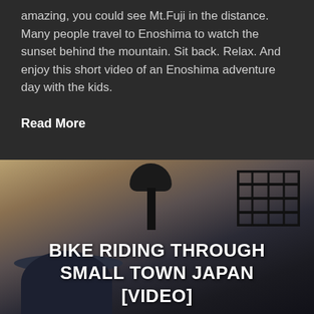amazing, you could see Mt.Fuji in the distance. Many people travel to Enoshima to watch the sunset behind the mountain. Sit back. Relax. And enjoy this short video of an Enoshima adventure day with the kids.
Read More
[Figure (photo): Photo of a bicycle seat and basket from below, with a person wearing a cap visible at the bottom. Dark moody tones with warm background tones.]
BIKE RIDING THROUGH SMALL TOWN JAPAN [VIDEO]